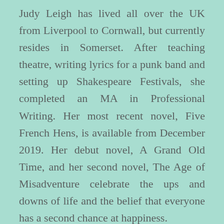Judy Leigh has lived all over the UK from Liverpool to Cornwall, but currently resides in Somerset. After teaching theatre, writing lyrics for a punk band and setting up Shakespeare Festivals, she completed an MA in Professional Writing. Her most recent novel, Five French Hens, is available from December 2019. Her debut novel, A Grand Old Time, and her second novel, The Age of Misadventure celebrate the ups and downs of life and the belief that everyone has a second chance at happiness.